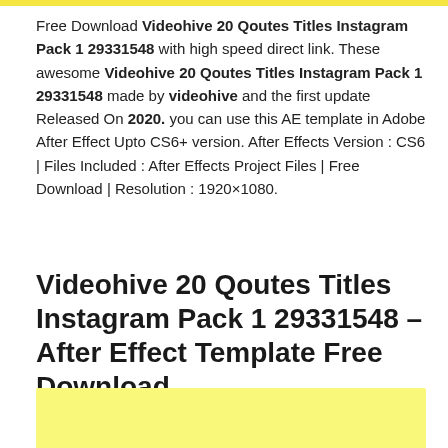Free Download Videohive 20 Qoutes Titles Instagram Pack 1 29331548 with high speed direct link. These awesome Videohive 20 Qoutes Titles Instagram Pack 1 29331548 made by videohive and the first update Released On 2020. you can use this AE template in Adobe After Effect Upto CS6+ version. After Effects Version : CS6 | Files Included : After Effects Project Files | Free Download | Resolution : 1920×1080.
Videohive 20 Qoutes Titles Instagram Pack 1 29331548 – After Effect Template Free Download
[Figure (other): Yellow/light background rectangle at bottom of page, partially visible]